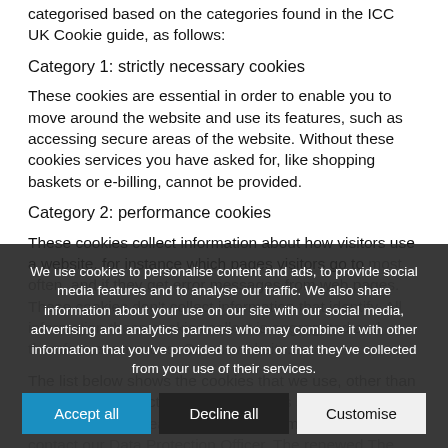categorised based on the categories found in the ICC UK Cookie guide, as follows:
Category 1: strictly necessary cookies
These cookies are essential in order to enable you to move around the website and use its features, such as accessing secure areas of the website. Without these cookies services you have asked for, like shopping baskets or e-billing, cannot be provided.
Category 2: performance cookies
These cookies collect information about how visitors use a website, for instance which pages visitors go to most often, and if they get error messages from web pages. These cookies don't collect information that identifies a visitor. All information these cookies collect is aggregated and therefore anonymous. On our website we use...
The list below shows the cookies that we use, other than those that are strictly necessary to this service. If you have questions about the service, please see more information, please contact our Data Protection Officer. The renewed The Cookies Terms Pr...
We use cookies to personalise content and ads, to provide social media features and to analyse our traffic. We also share information about your use on our site with our social media, advertising and analytics partners who may combine it with other information that you've provided to them or that they've collected from your use of their services.
Accept all
Decline all
Customise